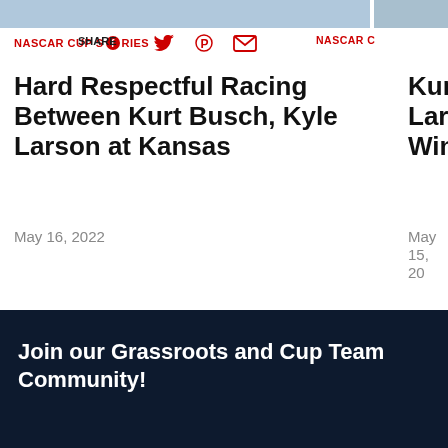[Figure (photo): Top photo bar image strip]
NASCAR CUP SERIES | SHARE
Hard Respectful Racing Between Kurt Busch, Kyle Larson at Kansas
May 16, 2022
NASCAR C...
Kurt Bu... Larson ... Win
May 15, 20...
Join our Grassroots and Cup Team Community!